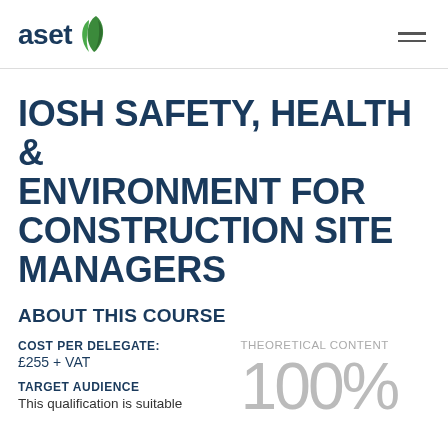[Figure (logo): aset logo with droplet icon in navy and green]
IOSH SAFETY, HEALTH & ENVIRONMENT FOR CONSTRUCTION SITE MANAGERS
ABOUT THIS COURSE
COST PER DELEGATE:
£255 + VAT
THEORETICAL CONTENT
100%
TARGET AUDIENCE
This qualification is suitable